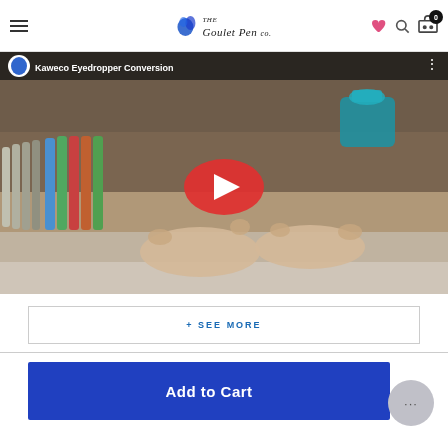The Goulet Pen Co. - navigation header with hamburger menu, logo, heart icon, search icon, cart (0)
[Figure (screenshot): YouTube video thumbnail for 'Kaweco Eyedropper Conversion' showing fountain pens, ink bottle, and hands working with pens. Red play button in center.]
+ SEE MORE
Add to Cart